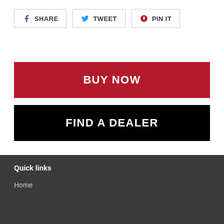SHARE
TWEET
PIN IT
BUY NOW
FIND A DEALER
Quick links
Home